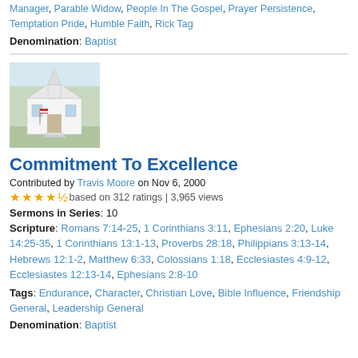Manager, Parable Widow, People In The Gospel, Prayer Persistence, Temptation Pride, Humble Faith, Rick Tag
Denomination: Baptist
[Figure (photo): A small white church building with a steeple, American flag visible near entrance, surrounded by bare trees.]
Commitment To Excellence
Contributed by Travis Moore on Nov 6, 2000
4.5 stars based on 312 ratings | 3,965 views
Sermons in Series: 10
Scripture: Romans 7:14-25, 1 Corinthians 3:11, Ephesians 2:20, Luke 14:25-35, 1 Corinthians 13:1-13, Proverbs 28:18, Philippians 3:13-14, Hebrews 12:1-2, Matthew 6:33, Colossians 1:18, Ecclesiastes 4:9-12, Ecclesiastes 12:13-14, Ephesians 2:8-10
Tags: Endurance, Character, Christian Love, Bible Influence, Friendship General, Leadership General
Denomination: Baptist